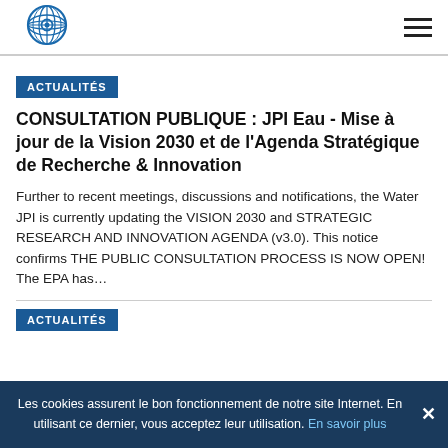[Figure (logo): Water JPI globe/eye logo in blue, top left]
ACTUALITÉS
CONSULTATION PUBLIQUE : JPI Eau - Mise à jour de la Vision 2030 et de l'Agenda Stratégique de Recherche & Innovation
Further to recent meetings, discussions and notifications, the Water JPI is currently updating the VISION 2030 and STRATEGIC RESEARCH AND INNOVATION AGENDA (v3.0). This notice confirms THE PUBLIC CONSULTATION PROCESS IS NOW OPEN! The EPA has…
ACTUALITÉS
Les cookies assurent le bon fonctionnement de notre site Internet. En utilisant ce dernier, vous acceptez leur utilisation. En savoir plus